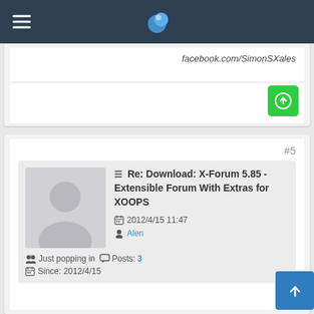Navigation bar with hamburger menu and globe logo
facebook.com/SimonSXales
#5
Re: Download: X-Forum 5.85 - Extensible Forum With Extras for XOOPS
2012/4/15 11:47
Alen
Just popping in   Posts: 3
Since: 2012/4/15